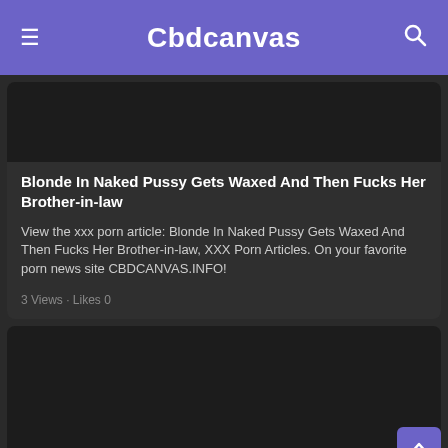Cbdcanvas
[Figure (photo): Dark image area at top of article card]
Blonde In Naked Pussy Gets Waxed And Then Fucks Her Brother-in-law
View the xxx porn article: Blonde In Naked Pussy Gets Waxed And Then Fucks Her Brother-in-law, XXX Porn Articles. On your favorite porn news site CBDCANVAS.INFO!
3 Views · Likes 0
[Figure (photo): Dark image area for second article card]